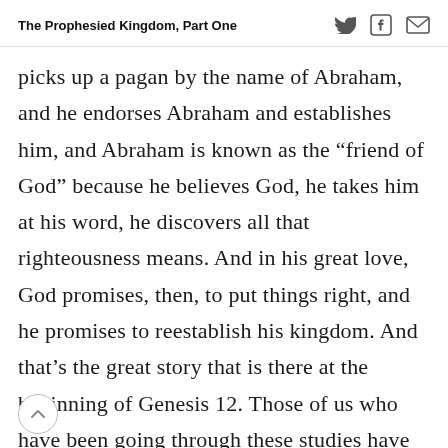The Prophesied Kingdom, Part One
picks up a pagan by the name of Abraham, and he endorses Abraham and establishes him, and Abraham is known as the “friend of God” because he believes God, he takes him at his word, he discovers all that righteousness means. And in his great love, God promises, then, to put things right, and he promises to reestablish his kingdom. And that’s the great story that is there at the beginning of Genesis 12. Those of us who have been going through these studies have Genesis 12:1–3 pretty well anchored in the corner of our heads—at least I hope we do—because, if someone were to ask us, I